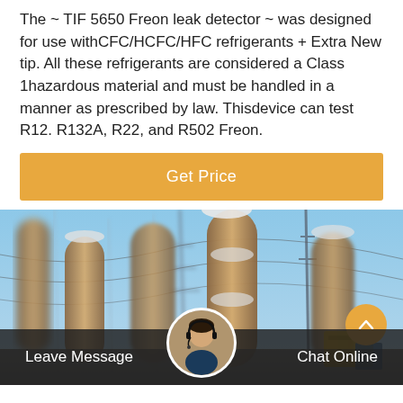The ~ TIF 5650 Freon leak detector ~ was designed for use withCFC/HCFC/HFC refrigerants + Extra New tip. All these refrigerants are considered a Class 1hazardous material and must be handled in a manner as prescribed by law. Thisdevice can test R12. R132A, R22, and R502 Freon.
Get Price
[Figure (photo): Outdoor electrical substation with tall cylindrical transformer bushings and power line towers against a blue sky, daytime.]
Leave Message   Chat Online